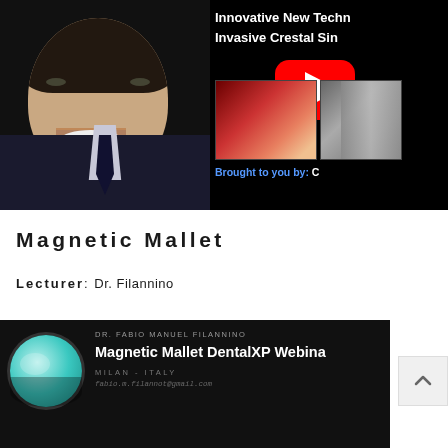[Figure (screenshot): YouTube video thumbnail showing a dentist/doctor in a suit with text 'Innovative New Techn... Invasive Crestal Sin...' and medical procedure images, with YouTube play button overlay. Bottom shows website URL WWW.STUDIODENTISTICOBALDIDOMEN...]
Magnetic Mallet
Lecturer: Dr. Filannino
[Figure (screenshot): YouTube video thumbnail for 'Magnetic Mallet DentalXP Webina...' featuring teal/turquoise avatar circle, presenter name DR. FABIO MANUEL FILANNINO, location MILAN - ITALY, email fabia.m.filannot@gmail.com]